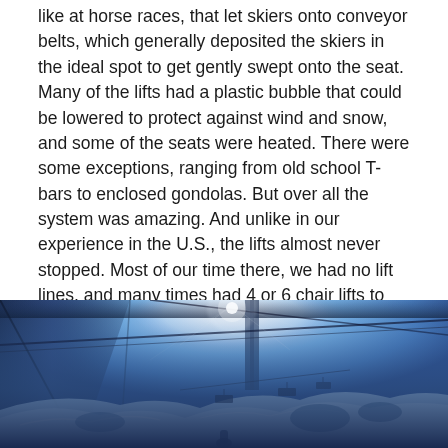like at horse races, that let skiers onto conveyor belts, which generally deposited the skiers in the ideal spot to get gently swept onto the seat. Many of the lifts had a plastic bubble that could be lowered to protect against wind and snow, and some of the seats were heated. There were some exceptions, ranging from old school T-bars to enclosed gondolas. But over all the system was amazing. And unlike in our experience in the U.S., the lifts almost never stopped. Most of our time there, we had no lift lines, and many times had 4 or 6 chair lifts to ourselves.
[Figure (photo): A dramatic blue-toned photograph taken from inside a ski gondola or cable car looking out. The view shows a bright light source (sun or lamp) at the top center, with cable car wires visible, and a snowy mountain landscape below with ski lift chairs and rocky terrain visible at the bottom.]